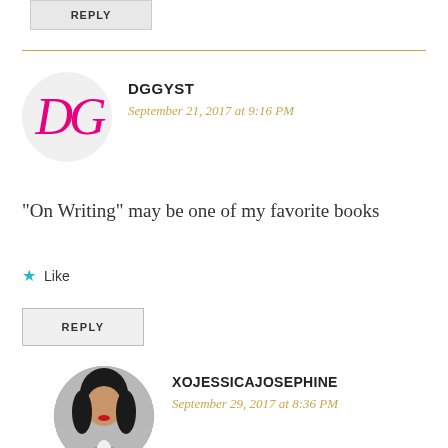REPLY
DGGYST
September 21, 2017 at 9:16 PM
“On Writing” may be one of my favorite books
Like
REPLY
XOJESSICAJOSEPHINE
September 29, 2017 at 8:36 PM